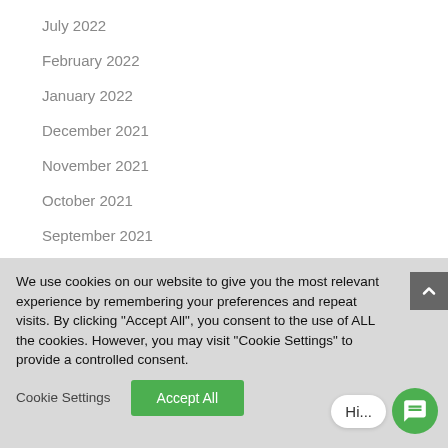July 2022
February 2022
January 2022
December 2021
November 2021
October 2021
September 2021
August 2021
We use cookies on our website to give you the most relevant experience by remembering your preferences and repeat visits. By clicking "Accept All", you consent to the use of ALL the cookies. However, you may visit "Cookie Settings" to provide a controlled consent.